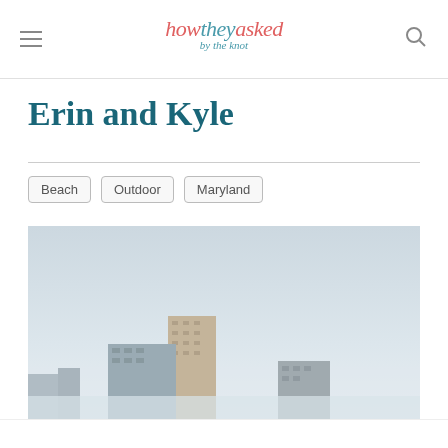how they asked by the knot
Erin and Kyle
Beach
Outdoor
Maryland
[Figure (photo): Outdoor cityscape photo with buildings visible under a hazy pale blue-grey sky, appears to be taken at a beach or waterfront location.]